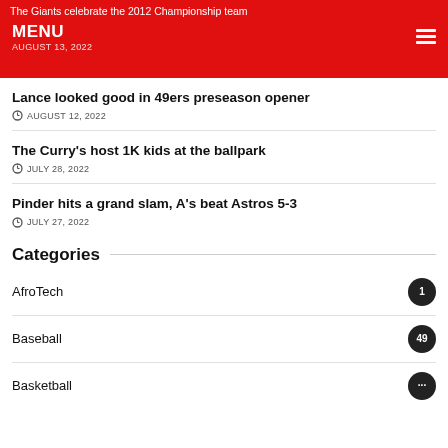The Giants celebrate the 2012 Championship team
AUGUST 13, 2022
MENU
Lance looked good in 49ers preseason opener
AUGUST 12, 2022
The Curry's host 1K kids at the ballpark
JULY 28, 2022
Pinder hits a grand slam, A's beat Astros 5-3
JULY 27, 2022
Categories
AfroTech 1
Baseball 49
Basketball